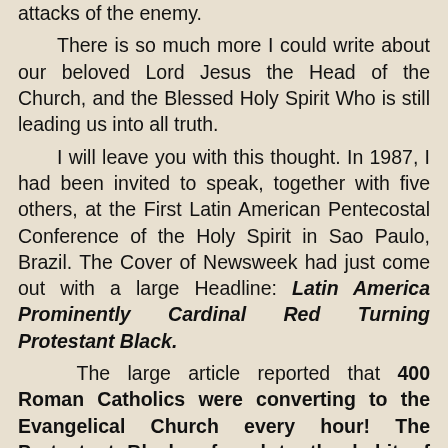attacks of the enemy.

There is so much more I could write about our beloved Lord Jesus the Head of the Church, and the Blessed Holy Spirit Who is still leading us into all truth.

I will leave you with this thought. In 1987, I had been invited to speak, together with five others, at the First Latin American Pentecostal Conference of the Holy Spirit in Sao Paulo, Brazil. The Cover of Newsweek had just come out with a large Headline: Latin America Prominently Cardinal Red Turning Protestant Black.

The large article reported that 400 Roman Catholics were converting to the Evangelical Church every hour! The Protestant Black referred to the habit of Protestants carrying their Bibles to Church. My weekly column in the Edmonton Sun the next Sunday carried those statistics, with these words from me: